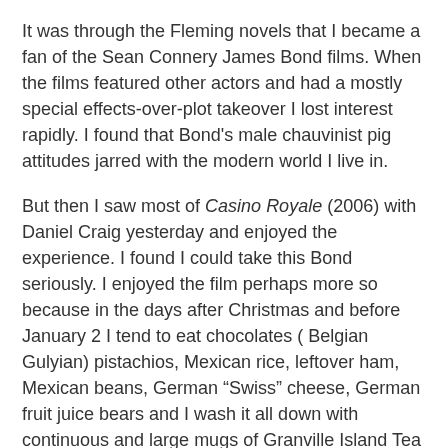It was through the Fleming novels that I became a fan of the Sean Connery James Bond films. When the films featured other actors and had a mostly special effects-over-plot takeover I lost interest rapidly. I found that Bond's male chauvinist pig attitudes jarred with the modern world I live in.
But then I saw most of Casino Royale (2006) with Daniel Craig yesterday and enjoyed the experience. I found I could take this Bond seriously. I enjoyed the film perhaps more so because in the days after Christmas and before January 2 I tend to eat chocolates ( Belgian Gulyian) pistachios, Mexican rice, leftover ham, Mexican beans, German “Swiss” cheese, German fruit juice bears and I wash it all down with continuous and large mugs of Granville Island Tea Company Earl Grey tea. I do not feel in the least guilty about doing nothing, watching junk films on TV and eating all of the above.
Today I watched Pierce Brosnan play James Bond in Tomorrow Never Dies and I did not find it as awful as I thought it would be. Just watching Brosnan's James Bond ... BMW in a tight, sleek, linear machine ...